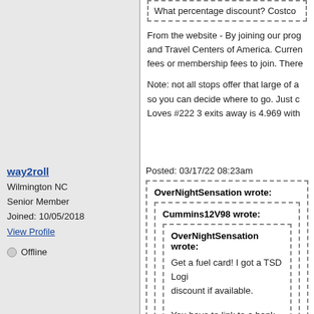What percentage discount? Costco...
From the website - By joining our program... and Travel Centers of America. Currently... fees or membership fees to join. There...
Note: not all stops offer that large of a... so you can decide where to go. Just c... Loves #222 3 exits away is 4.969 with...
way2roll
Wilmington NC
Senior Member
Joined: 10/05/2018
View Profile
Offline
Posted: 03/17/22 08:23am
OverNightSensation wrote:
Cummins12V98 wrote:
OverNightSensation wrote:
Get a fuel card! I got a TSD Logi... discount if available.
You have to link to a bank accou... Just set up a extra bank account... The name changed recently to...